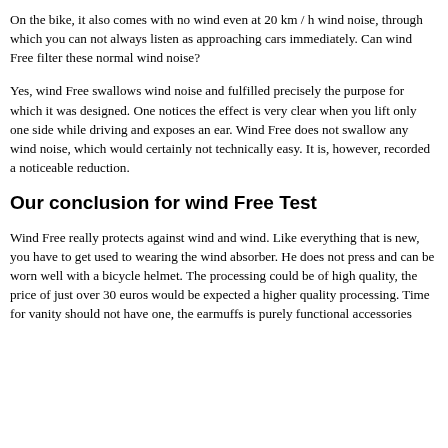On the bike, it also comes with no wind even at 20 km / h wind noise, through which you can not always listen as approaching cars immediately. Can wind Free filter these normal wind noise?
Yes, wind Free swallows wind noise and fulfilled precisely the purpose for which it was designed. One notices the effect is very clear when you lift only one side while driving and exposes an ear. Wind Free does not swallow any wind noise, which would certainly not technically easy. It is, however, recorded a noticeable reduction.
Our conclusion for wind Free Test
Wind Free really protects against wind and wind. Like everything that is new, you have to get used to wearing the wind absorber. He does not press and can be worn well with a bicycle helmet. The processing could be of high quality, the price of just over 30 euros would be expected a higher quality processing. Time for vanity should not have one, the earmuffs is purely functional accessories